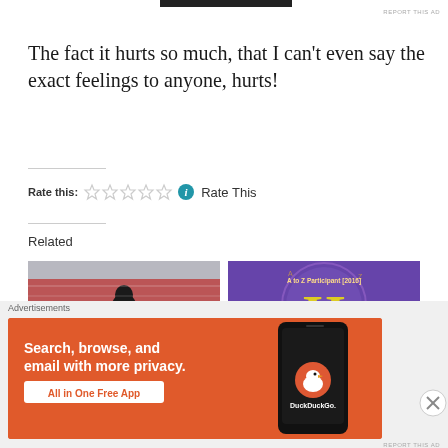The fact it hurts so much, that I can't even say the exact feelings to anyone, hurts!
Rate this: ☆☆☆☆☆ ℹ Rate This
Related
[Figure (photo): A person standing on a subway platform with a blurred red and white train passing by]
[Figure (illustration): A to Z Participant 2016 badge with a large yellow letter H on a purple background]
[Figure (screenshot): DuckDuckGo advertisement: Search, browse, and email with more privacy. All in One Free App, showing a phone with the DuckDuckGo logo]